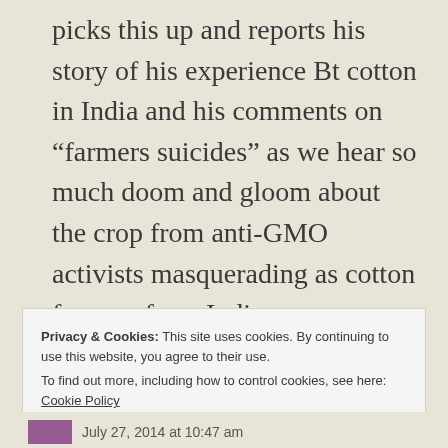picks this up and reports his story of his experience Bt cotton in India and his comments on “farmers suicides” as we hear so much doom and gloom about the crop from anti-GMO activists masquerading as cotton farmers from India
★ Like
Privacy & Cookies: This site uses cookies. By continuing to use this website, you agree to their use.
To find out more, including how to control cookies, see here: Cookie Policy
Close and accept
July 27, 2014 at 10:47 am